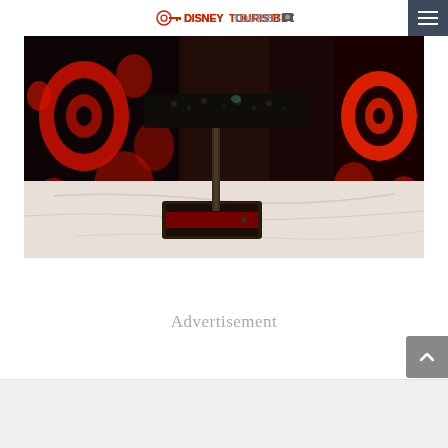DisneyTouristBlog
[Figure (photo): Close-up photo of a decorative table lamp with an ornate patterned shade on a white marble surface, with red illuminated panels in the background featuring intricate floral/paisley patterns.]
Advertisement